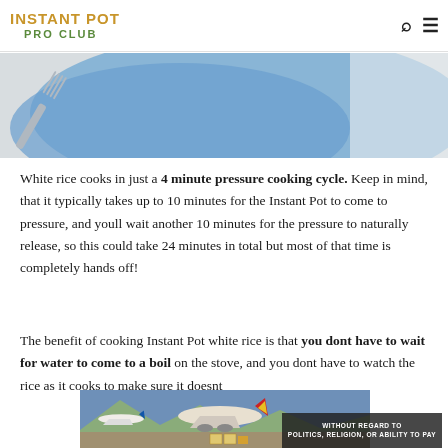INSTANT POT PRO CLUB
[Figure (photo): Close-up photo of a silver fork resting on a blue fabric/napkin on a light surface]
White rice cooks in just a 4 minute pressure cooking cycle. Keep in mind, that it typically takes up to 10 minutes for the Instant Pot to come to pressure, and youll wait another 10 minutes for the pressure to naturally release, so this could take 24 minutes in total but most of that time is completely hands off!
The benefit of cooking Instant Pot white rice is that you dont have to wait for water to come to a boil on the stove, and you dont have to watch the rice as it cooks to make sure it doesnt
[Figure (photo): Advertisement image showing airplanes on a tarmac being loaded with cargo, with text overlay reading WITHOUT REGARD TO POLITICS, RELIGION, OR ABILITY TO PAY]